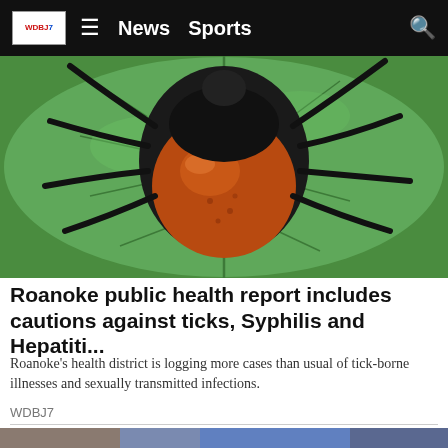WDBJ7  ≡  News  Sports  🔍
[Figure (photo): Close-up macro photograph of a tick (brown and black) on a green leaf]
Roanoke public health report includes cautions against ticks, Syphilis and Hepatiti...
Roanoke's health district is logging more cases than usual of tick-borne illnesses and sexually transmitted infections.
WDBJ7
[Figure (photo): Two people in front of graffiti artwork on a wall, street scene]